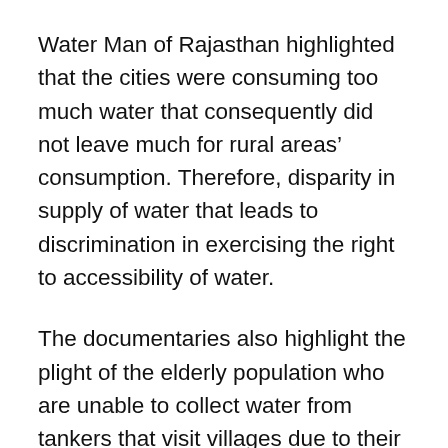Water Man of Rajasthan highlighted that the cities were consuming too much water that consequently did not leave much for rural areas' consumption. Therefore, disparity in supply of water that leads to discrimination in exercising the right to accessibility of water.
The documentaries also highlight the plight of the elderly population who are unable to collect water from tankers that visit villages due to their old age and the massive rush that is caused due to the scramble for water. The testimonials by the elderly of the